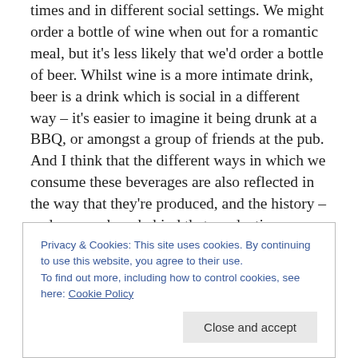times and in different social settings. We might order a bottle of wine when out for a romantic meal, but it's less likely that we'd order a bottle of beer. Whilst wine is a more intimate drink, beer is a drink which is social in a different way – it's easier to imagine it being drunk at a BBQ, or amongst a group of friends at the pub. And I think that the different ways in which we consume these beverages are also reflected in the way that they're produced, and the history – and geography – behind that production. Clearly I'm generalising here, but having visited both breweries and wineries in such quick
Privacy & Cookies: This site uses cookies. By continuing to use this website, you agree to their use.
To find out more, including how to control cookies, see here: Cookie Policy
[Close and accept]